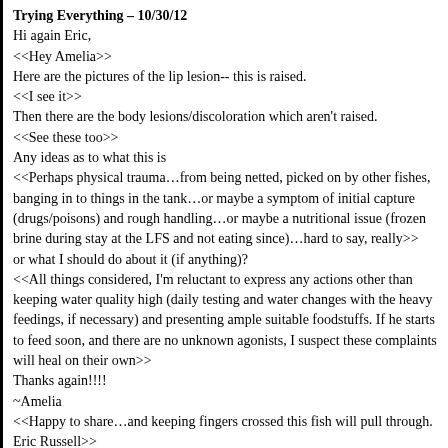Trying Everything – 10/30/12
Hi again Eric,
<<Hey Amelia>>
Here are the pictures of the lip lesion-- this is raised.
<<I see it>>
Then there are the body lesions/discoloration which aren't raised.
<<See these too>>
Any ideas as to what this is
<<Perhaps physical trauma…from being netted, picked on by other fishes, banging in to things in the tank…or maybe a symptom of initial capture (drugs/poisons) and rough handling…or maybe a nutritional issue (frozen brine during stay at the LFS and not eating since)…hard to say, really>>
or what I should do about it (if anything)?
<<All things considered, I'm reluctant to express any actions other than keeping water quality high (daily testing and water changes with the heavy feedings, if necessary) and presenting ample suitable foodstuffs. If he starts to feed soon, and there are no unknown agonists, I suspect these complaints will heal on their own>>
Thanks again!!!!
~Amelia
<<Happy to share…and keeping fingers crossed this fish will pull through. Eric Russell>>
PS- let me know if you need bigger pictures, I cut these down some to